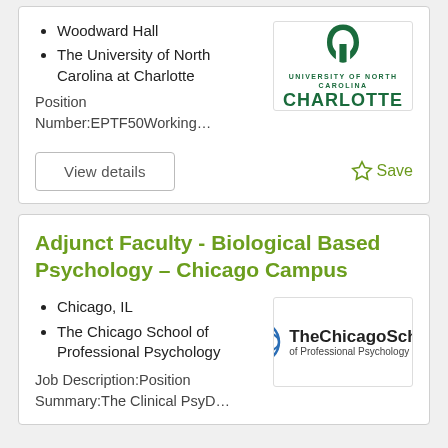Woodward Hall
The University of North Carolina at Charlotte
[Figure (logo): University of North Carolina at Charlotte logo with green C icon and CHARLOTTE wordmark]
Position Number:EPTF50Working...
View details
Save
Adjunct Faculty - Biological Based Psychology – Chicago Campus
Chicago, IL
The Chicago School of Professional Psychology
[Figure (logo): The Chicago School of Professional Psychology logo with blue circular icon and text]
Job Description:Position Summary:The Clinical PsyD...